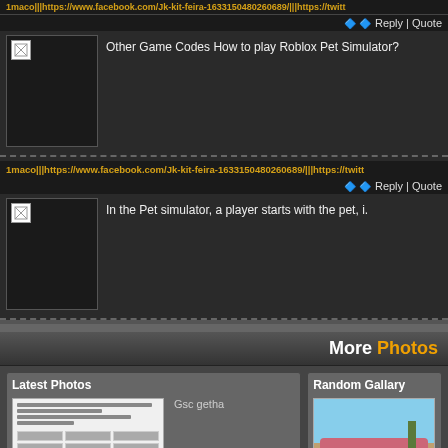1maco|||https://www.facebook.com/Jk-kit-feira-1633150480260689/|||https://twitt
Reply | Quote
[Figure (screenshot): Avatar placeholder image (broken image icon)]
Other Game Codes How to play Roblox Pet Simulator?
1maco|||https://www.facebook.com/Jk-kit-feira-1633150480260689/|||https://twitt
Reply | Quote
[Figure (screenshot): Avatar placeholder image (broken image icon)]
In the Pet simulator, a player starts with the pet, i.
More Photos
Latest Photos
[Figure (photo): Document thumbnail - Pengaratan sains tahun 5]
Pengaratan sains tahun 5
Gsc getha
Random Gallary
[Figure (photo): Building photo - Klinik kesihatan berapit, a pink-roofed building with palm trees]
Klinik kesihatan berapit